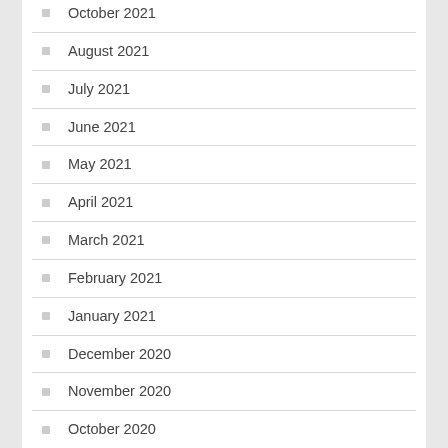October 2021
August 2021
July 2021
June 2021
May 2021
April 2021
March 2021
February 2021
January 2021
December 2020
November 2020
October 2020
September 2020
August 2020
July 2020